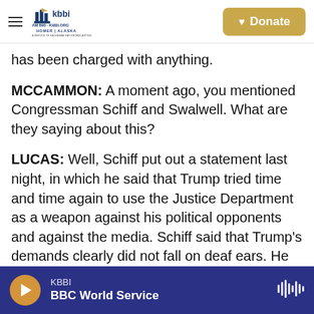KBBI AM 890 · KBBI.ORG HOMER ALASKA | Donate
has been charged with anything.
MCCAMMON: A moment ago, you mentioned Congressman Schiff and Swalwell. What are they saying about this?
LUCAS: Well, Schiff put out a statement last night, in which he said that Trump tried time and time again to use the Justice Department as a weapon against his political opponents and against the media. Schiff said that Trump's demands clearly did not fall on deaf ears. He called this an attack on the rule of law. And he called on the Justice
KBBI | BBC World Service